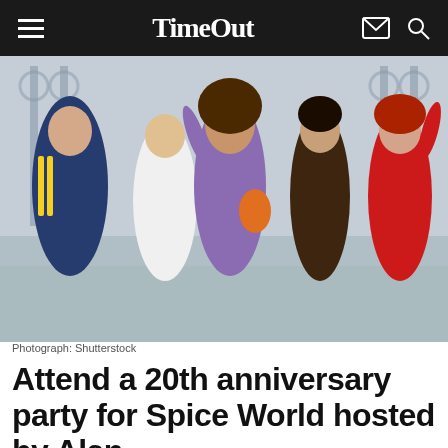Time Out
[Figure (photo): Five women posing together outdoors in front of an ornate iron gate. From left to right: a woman in a navy blue tracksuit with yellow stripes, a woman in a white mini dress making a peace sign, a woman in purple outfit with curly hair and glasses making a peace sign with arm raised, a woman in a dark brown outfit pointing forward, and a woman in a red sleeveless dress with red hair with arm raised.]
Photograph: Shutterstock
Attend a 20th anniversary party for Spice World hosted by Alan